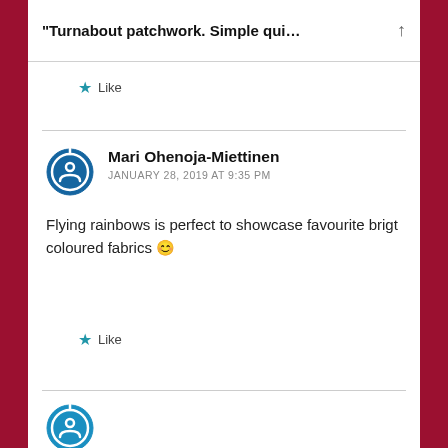“Turnabout patchwork. Simple qui…
Like
Mari Ohenoja-Miettinen
JANUARY 28, 2019 AT 9:35 PM

Flying rainbows is perfect to showcase favourite brigt coloured fabrics 😊
Like